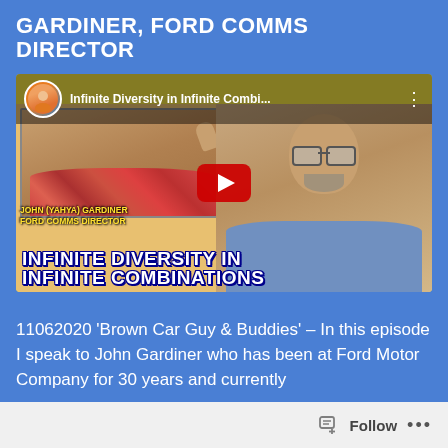GARDINER, FORD COMMS DIRECTOR
[Figure (screenshot): YouTube video thumbnail showing 'Infinite Diversity in Infinite Combi...' with two people — a man in a floral shirt on the left waving, and a man in a blue shirt on the right looking surprised, on a yellow background with blue bold text reading 'INFINITE DIVERSITY IN INFINITE COMBINATIONS' and a red YouTube play button in the center. The left person is labeled 'JOHN (YAHYA) GARDINER FORD COMMS DIRECTOR'.]
11062020 'Brown Car Guy & Buddies' – In this episode I speak to John Gardiner who has been at Ford Motor Company for 30 years and currently
Follow ...